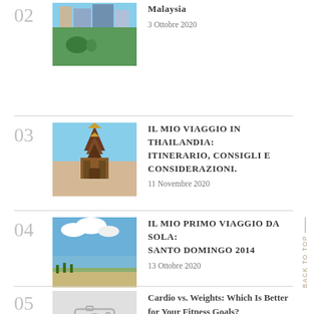02 — Malaysia, 3 Ottobre 2020
03 — IL MIO VIAGGIO IN THAILANDIA: ITINERARIO, CONSIGLI E CONSIDERAZIONI., 11 Novembre 2020
04 — IL MIO PRIMO VIAGGIO DA SOLA: SANTO DOMINGO 2014, 13 Ottobre 2020
05 — Cardio vs. Weights: Which Is Better for Your Fitness Goals?, 11 Ottobre 2020